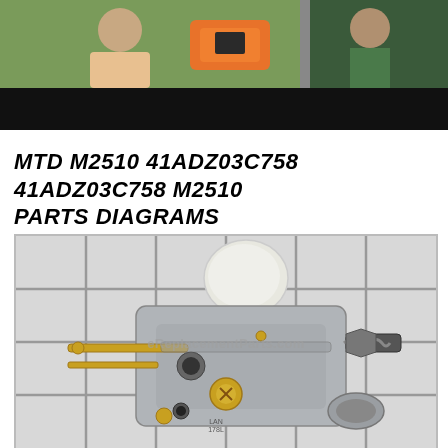[Figure (photo): Top banner showing outdoor power equipment usage photos with dark bar overlay]
MTD M2510 41ADZ03C758 41ADZ03C758 M2510 PARTS DIAGRAMS
[Figure (photo): Carburetor part photo on grid background with eReplacementParts.com watermark]